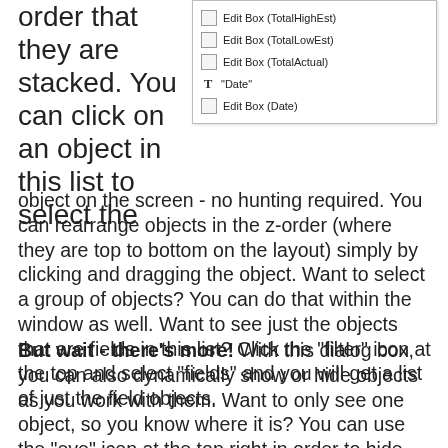order that they are stacked. You can click on an object in this list to select the
[Figure (screenshot): A dialog box panel listing layout objects: Edit Box (TotalHighEst), Edit Box (TotalLowEst), Edit Box (TotalActual), 'Date' (text label with T icon), Edit Box (Date)]
object on the screen - no hunting required. You can rearrange objects in the z-order (where they are top to bottom on the layout) simply by clicking and dragging the object. Want to select a group of objects? You can do that within the window as well. Want to see just the objects that are fields in this list? Click the "filter" icon at the top and select "fields" and you will get a list of just the field objects.
But wait - there's more! With this dialog box, you can also dynamically show or hide objects as you work with them. Want to only see one object, so you know where it is? You can use the "eye" icon at the top right in order to hide everything except the object you want. Or select a group of objects, and "hide"